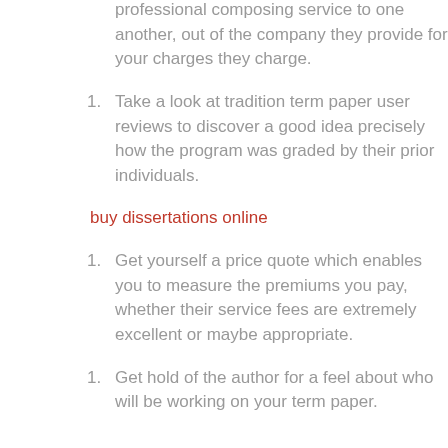professional composing service to one another, out of the company they provide for your charges they charge.
Take a look at tradition term paper user reviews to discover a good idea precisely how the program was graded by their prior individuals.
buy dissertations online
Get yourself a price quote which enables you to measure the premiums you pay, whether their service fees are extremely excellent or maybe appropriate.
Get hold of the author for a feel about who will be working on your term paper.